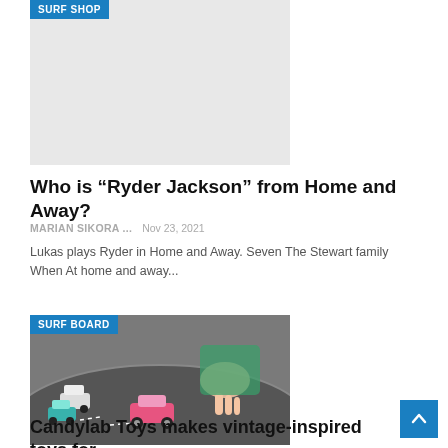[Figure (photo): Light gray placeholder image with a 'SURF SHOP' blue badge label in the top-left corner]
Who is “Ryder Jackson” from Home and Away?
MARIAN SIKORA ...   Nov 23, 2021
Lukas plays Ryder in Home and Away. Seven The Stewart family When At home and away...
[Figure (photo): Photo of child's hands playing with toy cars on a road play mat, with a pink car in the foreground. 'SURF BOARD' blue badge label in the top-left corner.]
Candylab Toys makes vintage-inspired toys for